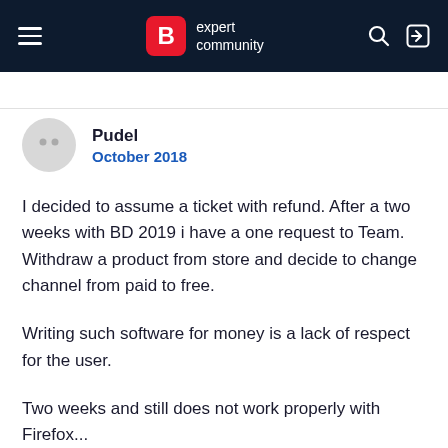B expert community
Pudel
October 2018
I decided to assume a ticket with refund. After a two weeks with BD 2019 i have a one request to Team. Withdraw a product from store and decide to change channel from paid to free.
Writing such software for money is a lack of respect for the user.
Two weeks and still does not work properly with Firefox...